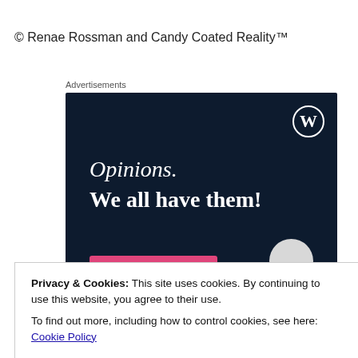© Renae Rossman and Candy Coated Reality™
Advertisements
[Figure (screenshot): WordPress advertisement with dark navy background showing text 'Opinions. We all have them!' with WordPress logo, a pink button bar, and a grey circle element.]
Privacy & Cookies: This site uses cookies. By continuing to use this website, you agree to their use.
To find out more, including how to control cookies, see here: Cookie Policy